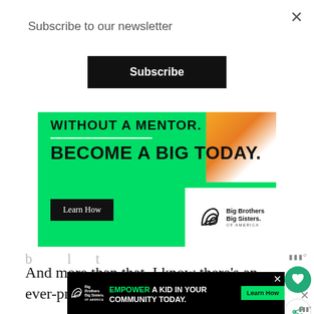Subscribe to our newsletter
Subscribe
[Figure (infographic): Big Brothers Big Sisters advertisement banner: 'WITHOUT A MENTOR. BECOME A BIG TODAY.' with a Learn How button and Big Brothers Big Sisters of America logo on green background with a person photo]
And more than that, I know there’s an ever-prowling enemy whispering lies,
[Figure (infographic): Bottom ad banner: 'EMPOWER A KID IN YOUR COMMUNITY TODAY.' with Learn How button, Big Brothers Big Sisters logo on black background]